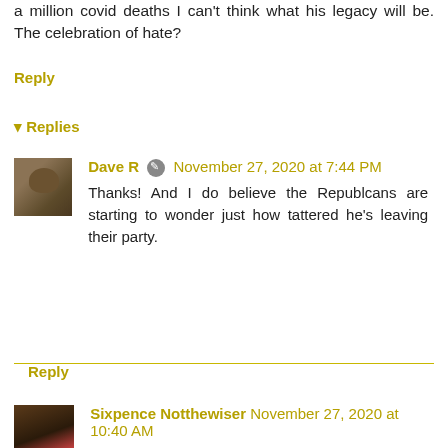a million covid deaths I can't think what his legacy will be. The celebration of hate?
Reply
Replies
Dave R  November 27, 2020 at 7:44 PM
Thanks! And I do believe the Republcans are starting to wonder just how tattered he's leaving their party.
Reply
Sixpence Notthewiser  November 27, 2020 at 10:40 AM
Legacy? What legacy? Being the most inept, obnoxious, ignorant racist ever to occupy the White House? THAT legacy?
And your dessert looks and sounds delish. I can live without pumpkin pie, but this looks yummy.